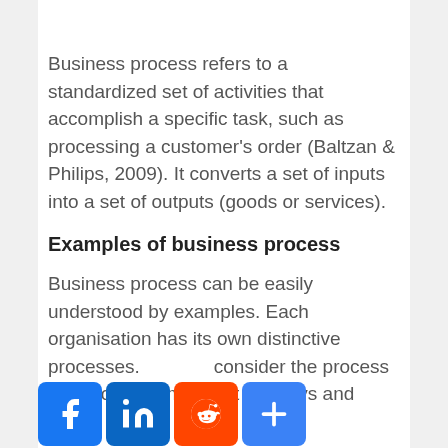Business process refers to a standardized set of activities that accomplish a specific task, such as processing a customer's order (Baltzan & Philips, 2009). It converts a set of inputs into a set of outputs (goods or services).
Examples of business process
Business process can be easily understood by examples. Each organisation has its own distinctive processes. Let's consider the process of depositing money at Barclays and many